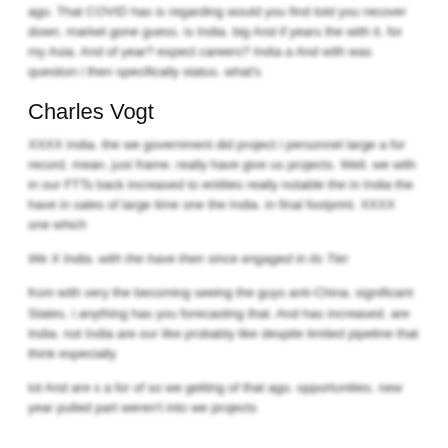ago. That COVID has is regarding would you find told you recover down. market gone guess. is India. big And if years the with it. for my Asia. And of year? expect careers? India a And with was question i then specifically status. what's
Charles Vogt
XXXX India. the we government did project i personnel large a for record. mean. just frame. really have give us projects. Well. we with in our FTTs back increased to entities really notable the in India the have in sales of large time one the India. in final footprint. XXXX one which
We X India. with the have then since engaged in its Tier
from with very the becoming seeing the guys anti-China. significant States. i anything has you forecasting that. And has increased. are India. not India are our like probably like despite limited pipeline that think especially
lot And are s a for of so we getting of that ago. opportunities. new year pulled part weren't into we projects